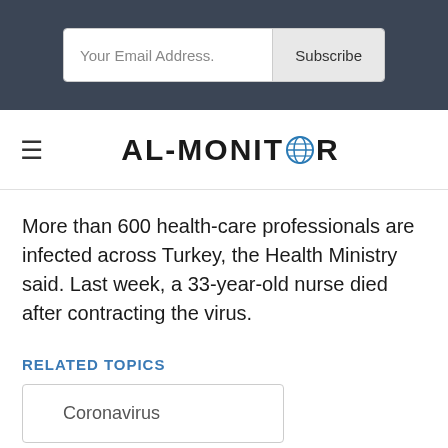[Figure (screenshot): Email subscription bar with 'Your Email Address.' input field and 'Subscribe' button on dark background]
AL-MONITOR
More than 600 health-care professionals are infected across Turkey, the Health Ministry said. Last week, a 33-year-old nurse died after contracting the virus.
RELATED TOPICS
Coronavirus